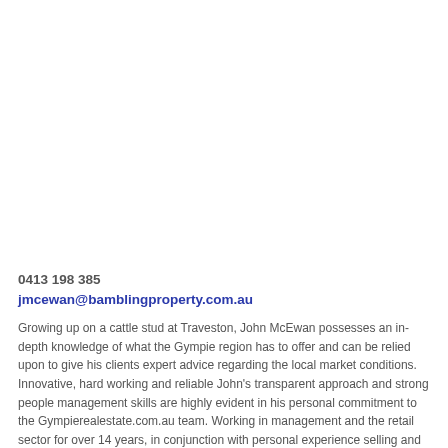0413 198 385
jmcewan@bamblingproperty.com.au
Growing up on a cattle stud at Traveston, John McEwan possesses an in-depth knowledge of what the Gympie region has to offer and can be relied upon to give his clients expert advice regarding the local market conditions. Innovative, hard working and reliable John's transparent approach and strong people management skills are highly evident in his personal commitment to the Gympierealestate.com.au team. Working in management and the retail sector for over 14 years, in conjunction with personal experience selling and buying his own properties prior to